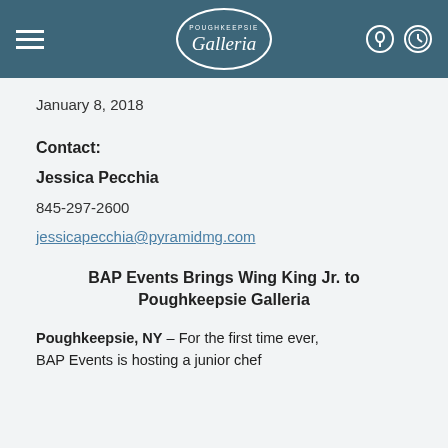[Figure (logo): Poughkeepsie Galleria logo in oval shape with header navigation bar in teal/dark blue color, hamburger menu icon on left, location and clock icons on right]
January 8, 2018
Contact:
Jessica Pecchia
845-297-2600
jessicapecchia@pyramidmg.com
BAP Events Brings Wing King Jr. to Poughkeepsie Galleria
Poughkeepsie, NY – For the first time ever, BAP Events is hosting a junior chef